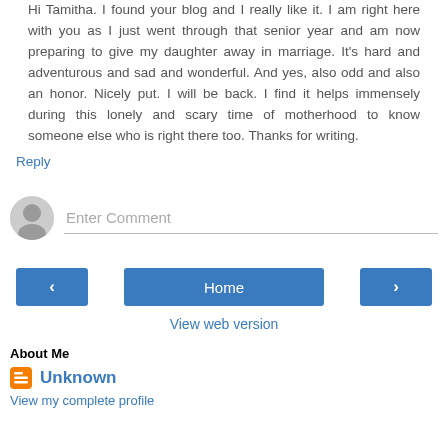Hi Tamitha. I found your blog and I really like it. I am right here with you as I just went through that senior year and am now preparing to give my daughter away in marriage. It's hard and adventurous and sad and wonderful. And yes, also odd and also an honor. Nicely put. I will be back. I find it helps immensely during this lonely and scary time of motherhood to know someone else who is right there too. Thanks for writing.
Reply
Enter Comment
Home
View web version
About Me
Unknown
View my complete profile